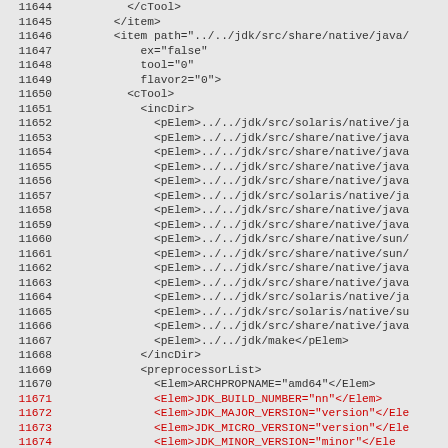Source code XML listing lines 11644-11673 with line numbers and XML content including cTool, item, incDir, pElem, preprocessorList, and Elem elements. Lines 11671-11673 are highlighted in red.